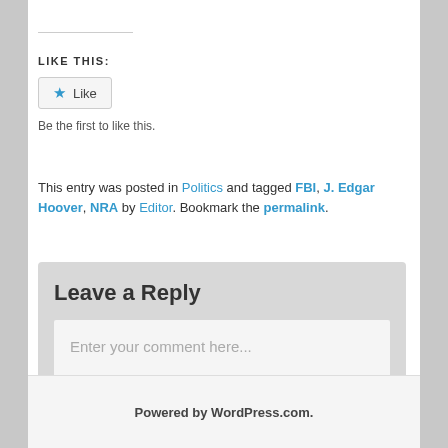LIKE THIS:
Be the first to like this.
This entry was posted in Politics and tagged FBI, J. Edgar Hoover, NRA by Editor. Bookmark the permalink.
Leave a Reply
Enter your comment here...
Powered by WordPress.com.